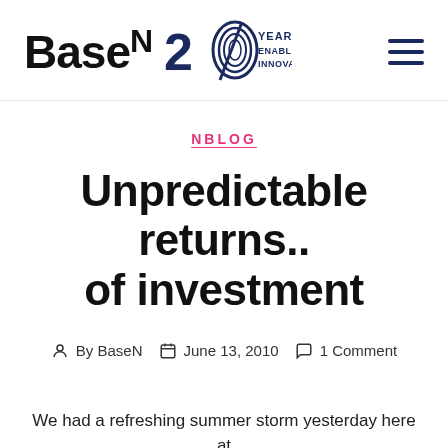[Figure (logo): BaseN logo with '20 Years Enabling Innovation' badge and hamburger menu icon]
NBLOG
Unpredictable returns.. of investment
By BaseN   June 13, 2010   1 Comment
We had a refreshing summer storm yesterday here at